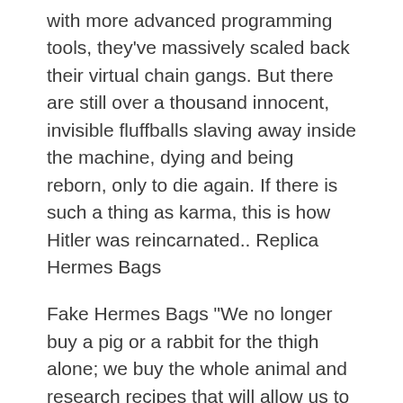with more advanced programming tools, they've massively scaled back their virtual chain gangs. But there are still over a thousand innocent, invisible fluffballs slaving away inside the machine, dying and being reborn, only to die again. If there is such a thing as karma, this is how Hitler was reincarnated.. Replica Hermes Bags
Fake Hermes Bags "We no longer buy a pig or a rabbit for the thigh alone; we buy the whole animal and research recipes that will allow us to Hermes Bags Replica use the whole rabbit. We use the entire chicken; we don't take out its innards and throw it away like they did 30 years ago, when they ate a bit high quality hermes replica of the breast and the rest ended up in the bin. In my opinion, this is very much high quality hermes birkin replica a part of rural life. Fake Hermes Bags